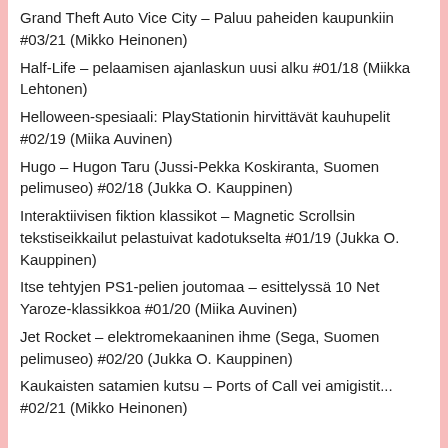Grand Theft Auto Vice City – Paluu paheiden kaupunkiin #03/21 (Mikko Heinonen)
Half-Life – pelaamisen ajanlaskun uusi alku #01/18 (Miikka Lehtonen)
Helloween-spesiaali: PlayStationin hirvittävät kauhupelit #02/19 (Miika Auvinen)
Hugo – Hugon Taru (Jussi-Pekka Koskiranta, Suomen pelimuseo) #02/18 (Jukka O. Kauppinen)
Interaktiivisen fiktion klassikot – Magnetic Scrollsin tekstiseikkailut pelastuivat kadotukselta #01/19 (Jukka O. Kauppinen)
Itse tehtyjen PS1-pelien joutomaa – esittelyssä 10 Net Yaroze-klassikkoa #01/20 (Miika Auvinen)
Jet Rocket – elektromekaaninen ihme (Sega, Suomen pelimuseo) #02/20 (Jukka O. Kauppinen)
Kaukaisten satamien kutsu – Ports of Call vei amigistit... #02/21 (Mikko Heinonen)